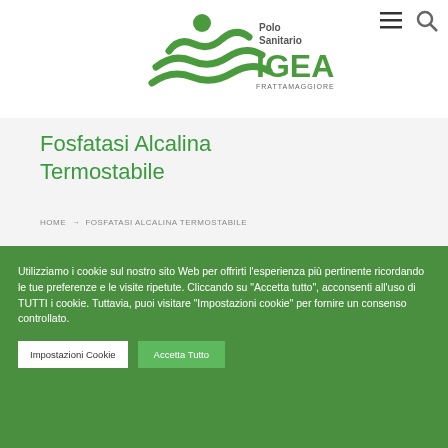[Figure (logo): Polo Sanitario IGEA Frattamaggiore logo — green figure with waves and bold green IGEA text]
Fosfatasi Alcalina Termostabile
HOME → FOSFATASI ALCALINA TERMOSTABILE
Utilizziamo i cookie sul nostro sito Web per offrirti l'esperienza più pertinente ricordando le tue preferenze e le visite ripetute. Cliccando su "Accetta tutto", acconsenti all'uso di TUTTI i cookie. Tuttavia, puoi visitare "Impostazioni cookie" per fornire un consenso controllato.
Impostazioni Cookie | Accetta Tutto